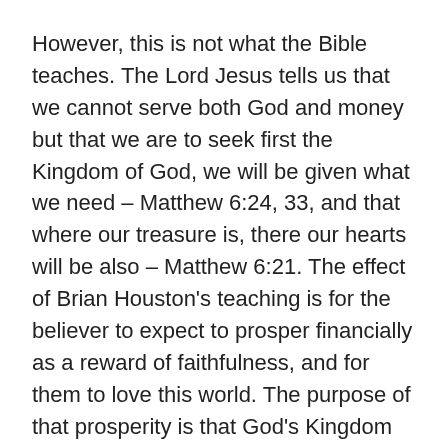However, this is not what the Bible teaches. The Lord Jesus tells us that we cannot serve both God and money but that we are to seek first the Kingdom of God, we will be given what we need – Matthew 6:24, 33, and that where our treasure is, there our hearts will be also – Matthew 6:21. The effect of Brian Houston's teaching is for the believer to expect to prosper financially as a reward of faithfulness, and for them to love this world. The purpose of that prosperity is that God's Kingdom will advance. This is a half-truth. God does bless His people, but there is to be no expectation of material prosperity. One of the obvious places to see this is in the account of the Rich Man and Lazarus.
Lazarus spent his life as a beggar with nothing, yet he had saving faith and went to heaven where he received his